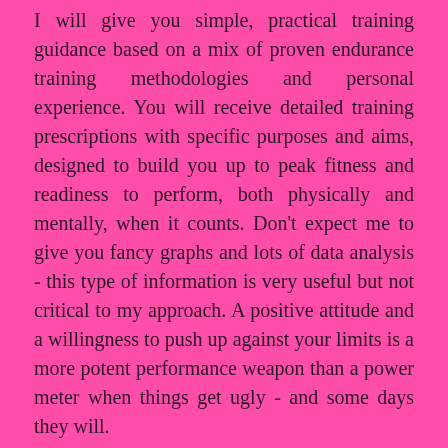I will give you simple, practical training guidance based on a mix of proven endurance training methodologies and personal experience. You will receive detailed training prescriptions with specific purposes and aims, designed to build you up to peak fitness and readiness to perform, both physically and mentally, when it counts. Don't expect me to give you fancy graphs and lots of data analysis - this type of information is very useful but not critical to my approach. A positive attitude and a willingness to push up against your limits is a more potent performance weapon than a power meter when things get ugly - and some days they will.
Optimal race day preparation is a process of trial, error and refinement, not something that magically occurs in your taper. For this reason, your training plan will incorporate physical and mental race preparation strategies throughout, so that you arrive on the start